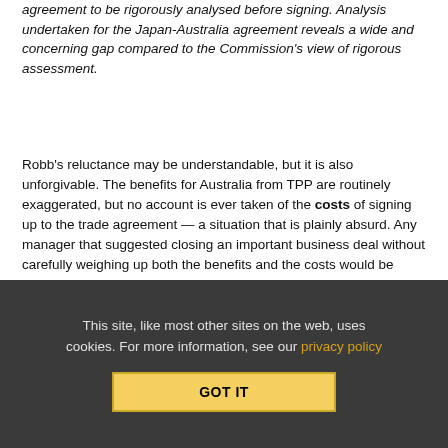agreement to be rigorously analysed before signing. Analysis undertaken for the Japan-Australia agreement reveals a wide and concerning gap compared to the Commission's view of rigorous assessment.
Robb's reluctance may be understandable, but it is also unforgivable. The benefits for Australia from TPP are routinely exaggerated, but no account is ever taken of the costs of signing up to the trade agreement — a situation that is plainly absurd. Any manager that suggested closing an important business deal without carefully weighing up both the benefits and the costs would be rightly dismissed for gross negligence and incompetence. And yet Robb expects 23 million Australians to agree to TPP on precisely that basis, simply because he says it's a good deal. That's not just appallingly arrogant, but also profoundly irresponsible.
This site, like most other sites on the web, uses cookies. For more information, see our privacy policy